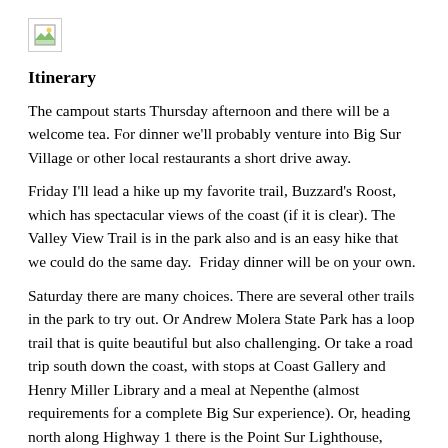[Figure (other): Broken image placeholder icon (small image icon with green/blue colors)]
Itinerary
The campout starts Thursday afternoon and there will be a welcome tea. For dinner we'll probably venture into Big Sur Village or other local restaurants a short drive away.
Friday I'll lead a hike up my favorite trail, Buzzard's Roost, which has spectacular views of the coast (if it is clear). The Valley View Trail is in the park also and is an easy hike that we could do the same day.  Friday dinner will be on your own.
Saturday there are many choices. There are several other trails in the park to try out. Or Andrew Molera State Park has a loop trail that is quite beautiful but also challenging. Or take a road trip south down the coast, with stops at Coast Gallery and Henry Miller Library and a meal at Nepenthe (almost requirements for a complete Big Sur experience). Or, heading north along Highway 1 there is the Point Sur Lighthouse, Bixby Bridge, and further up the coast about 30 miles, Point Lobos State Natural Reserve...